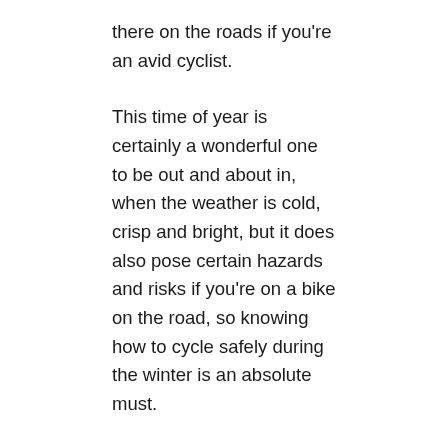there on the roads if you're an avid cyclist.
This time of year is certainly a wonderful one to be out and about in, when the weather is cold, crisp and bright, but it does also pose certain hazards and risks if you're on a bike on the road, so knowing how to cycle safely during the winter is an absolute must.
First of all, you need to think about your kit. Gloves are essential, as are thick wool socks, so you know your hands and feet will be well protected from the cold. Layering is also key when it comes to cycling in the cold, so you can easily remove layers or put them back on depending on your body temperature.